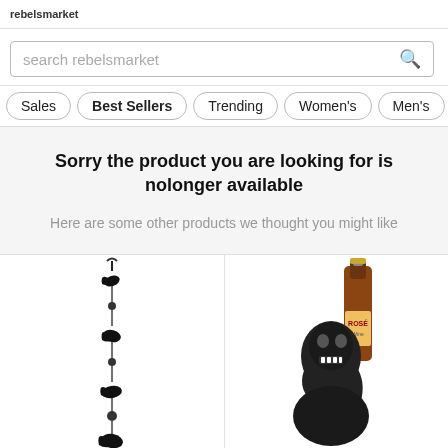rebelsmarket
search rebelsmarket
Sales | Best Sellers | Trending | Women's | Men's
Sorry the product you are looking for is nolonger available
Here are some other products we thought you might like
[Figure (photo): Product image 1: hanging metal raven/bird wind chime decoration with beads on a chain]
[Figure (photo): Product image 2: skull figurine holding a wine bottle with a label, decorative bottle holder]